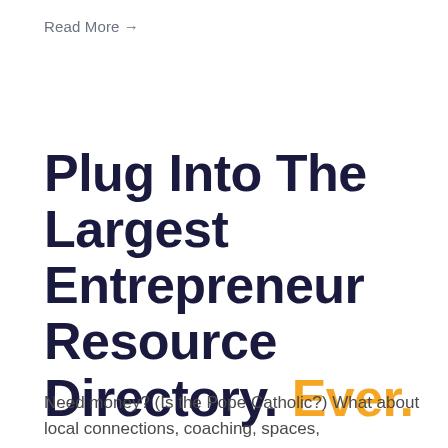Read More →
Plug Into The Largest Entrepreneur Resource Directory. Ever.
Need money? (Is the Pope Catholic?) What about local connections, coaching, spaces,